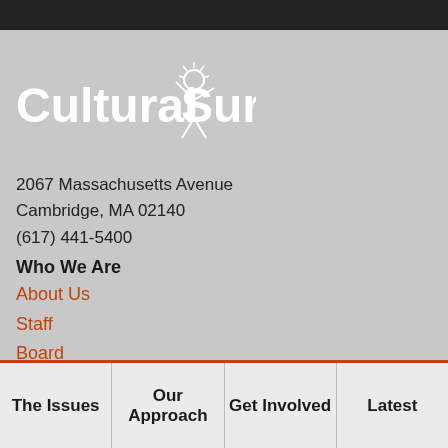[Figure (logo): Cultural Survival logo with white text and a stylized figure graphic]
2067 Massachusetts Avenue
Cambridge, MA 02140
(617) 441-5400
Who We Are
About Us
Staff
Board
Financials
Jobs
The Issues | Our Approach | Get Involved | Latest